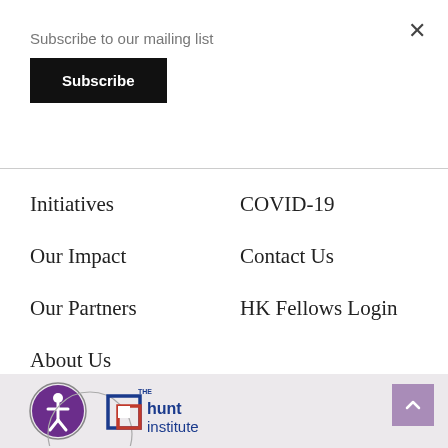Subscribe to our mailing list
Subscribe
Initiatives
COVID-19
Our Impact
Contact Us
Our Partners
HK Fellows Login
About Us
[Figure (logo): Accessibility icon (person in circle) and The Hunt Institute logo]